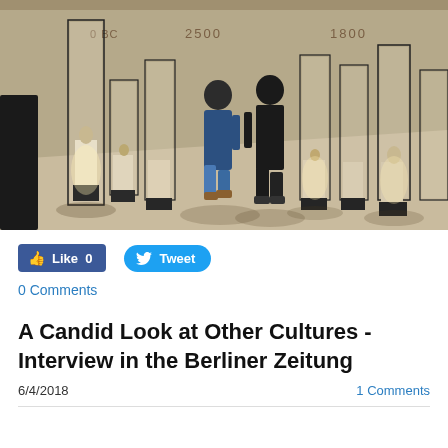[Figure (photo): Interior of a museum gallery with glass display cases on white pedestals arranged in rows. Two visitors in dark clothing walk through the space. The beige/cream walls show year markers '2500' and '1800'. Warm lighting illuminates the artifacts inside the cases.]
Like 0
Tweet
0 Comments
A Candid Look at Other Cultures - Interview in the Berliner Zeitung
6/4/2018
1 Comments